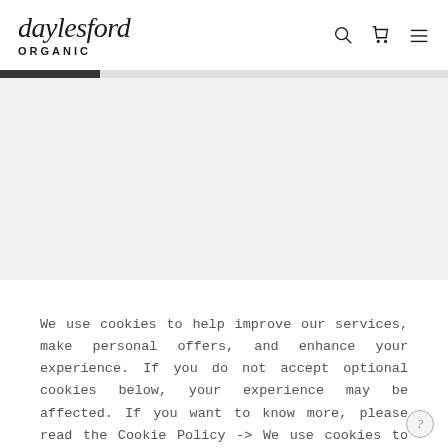daylesford ORGANIC
[Figure (other): Loading progress bar — partially filled dark bar on light gray background]
[Figure (other): Gray placeholder content area]
We use cookies to help improve our services, make personal offers, and enhance your experience. If you do not accept optional cookies below, your experience may be affected. If you want to know more, please read the Cookie Policy -> We use cookies to improve our services, make personal offers, and enhance your experience. If you do not accept optional